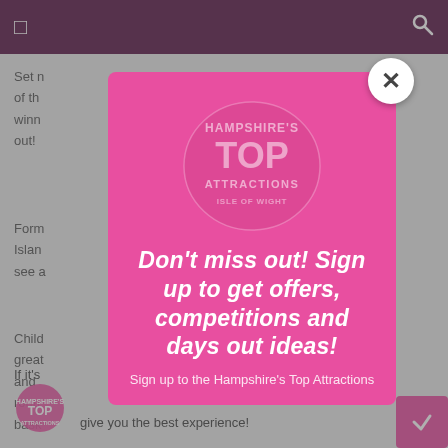☰  🔍
Set n... of th... winn... out!
Form... Islan... see a...
Child... great... and... round... bask...
If it's...
[Figure (screenshot): Pink modal popup overlay on a website. Contains Hampshire's Top Attractions logo watermark, bold white text 'Don't miss out! Sign up to get offers, competitions and days out ideas!' and subtitle 'Sign up to the Hampshire's Top Attractions'. A white circular close button (×) appears at the top-right of the modal.]
give you the best experience!